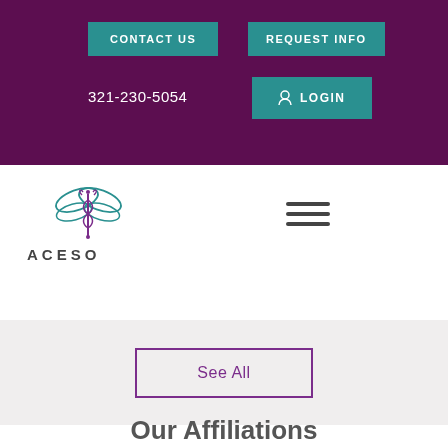CONTACT US | REQUEST INFO | 321-230-5054 | LOGIN
[Figure (logo): ACESO logo with dragonfly and caduceus symbol]
[Figure (other): Hamburger menu icon (three horizontal lines)]
See All
Our Affiliations